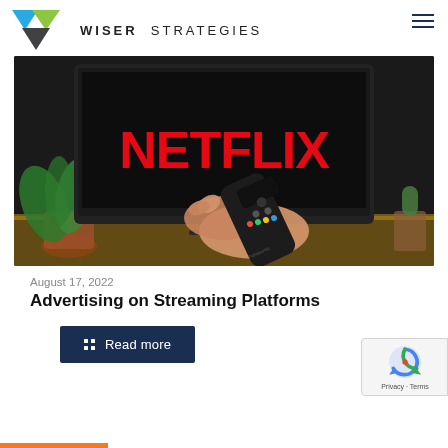WISER STRATEGIES
[Figure (photo): Photo of a hand holding a Panasonic TV remote pointing at a large screen TV displaying the Netflix logo in orange on black background, with potted plants in the background on a wooden surface.]
August 17, 2022
Advertising on Streaming Platforms
Read more